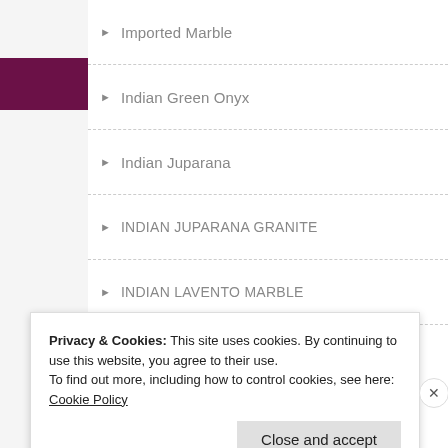Imported Marble
Indian Green Onyx
Indian Juparana
INDIAN JUPARANA GRANITE
INDIAN LAVENTO MARBLE
Indian Marble
Indian Onyx
INDIAN STATUARIO MARBLE
Indian staturio Marble
INDO ITALIAN MARBLE
Indo italian marble 1
Privacy & Cookies: This site uses cookies. By continuing to use this website, you agree to their use. To find out more, including how to control cookies, see here: Cookie Policy